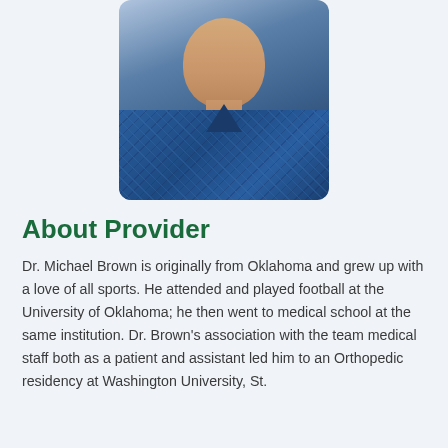[Figure (photo): Headshot photo of Dr. Michael Brown, a middle-aged man smiling, wearing a blue plaid/checkered shirt, with a light background.]
About Provider
Dr. Michael Brown is originally from Oklahoma and grew up with a love of all sports. He attended and played football at the University of Oklahoma; he then went to medical school at the same institution. Dr. Brown's association with the team medical staff both as a patient and assistant led him to an Orthopedic residency at Washington University, St.